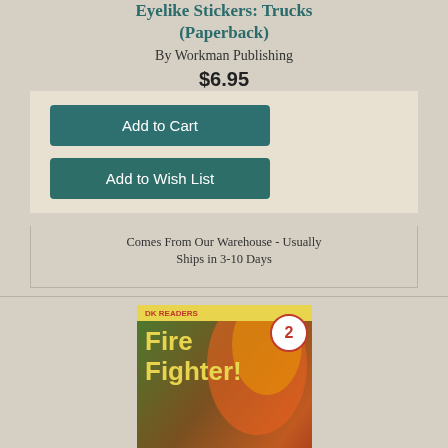Eyelike Stickers: Trucks (Paperback)
By Workman Publishing
$6.95
Add to Cart
Add to Wish List
Comes From Our Warehouse - Usually Ships in 3-10 Days
[Figure (photo): Book cover of DK Readers L2: Fire Fighter! showing a red fire truck and firefighter with flames in background]
DK Readers L2: Fire Fighter! (DK Readers Level 1) (Paperback)
By Angela Royston